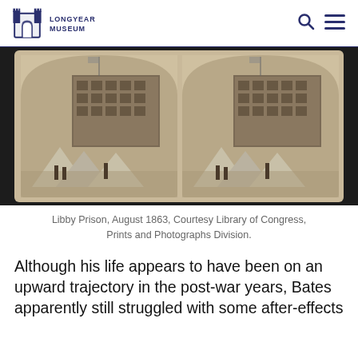Longyear Museum
[Figure (photo): Stereoscopic photograph of Libby Prison, August 1863. Shows a large multi-story brick building with military tents in the foreground and soldiers standing nearby. Image is duplicated side by side as a stereocard.]
Libby Prison, August 1863, Courtesy Library of Congress, Prints and Photographs Division.
Although his life appears to have been on an upward trajectory in the post-war years, Bates apparently still struggled with some after-effects